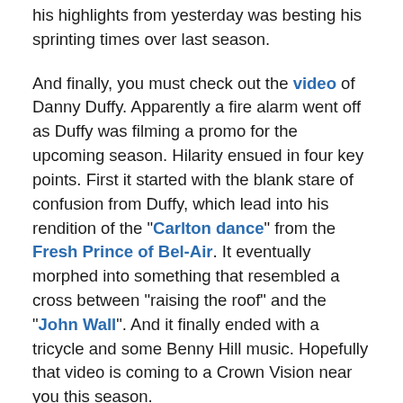his highlights from yesterday was besting his sprinting times over last season.
And finally, you must check out the video of Danny Duffy. Apparently a fire alarm went off as Duffy was filming a promo for the upcoming season. Hilarity ensued in four key points. First it started with the blank stare of confusion from Duffy, which lead into his rendition of the "Carlton dance" from the Fresh Prince of Bel-Air. It eventually morphed into something that resembled a cross between "raising the roof" and the "John Wall". And it finally ended with a tricycle and some Benny Hill music. Hopefully that video is coming to a Crown Vision near you this season.
IN THIS STREAM